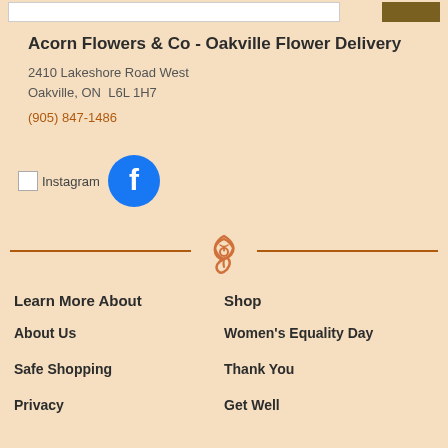Acorn Flowers & Co - Oakville Flower Delivery
2410 Lakeshore Road West
Oakville, ON  L6L 1H7
(905) 847-1486
[Figure (logo): Instagram icon and Facebook blue circle logo]
[Figure (illustration): Decorative horizontal divider with rose/spiral icon in center]
Learn More About
Shop
About Us
Women's Equality Day
Safe Shopping
Thank You
Privacy
Get Well